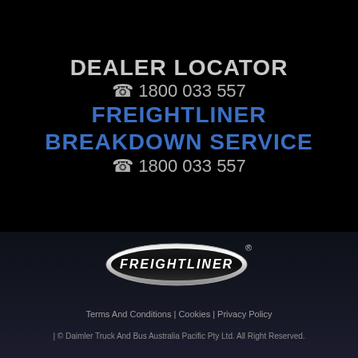DEALER LOCATOR
☎ 1800 033 557
FREIGHTLINER BREAKDOWN SERVICE
☎ 1800 033 557
[Figure (logo): Freightliner logo — chrome oval badge with FREIGHTLINER text and registered trademark symbol]
Terms And Conditions  |  Cookies  |  Privacy Policy
| © Daimler Truck And Bus Australia Pacific Pty Ltd. All Right Reserved.